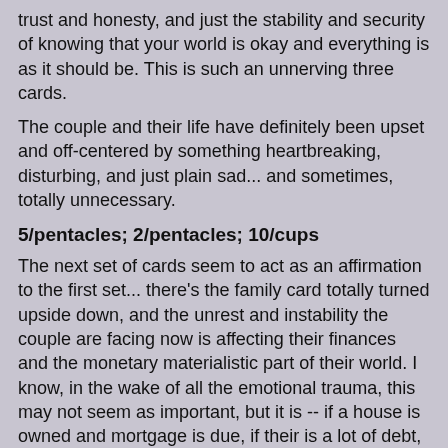trust and honesty, and just the stability and security of knowing that your world is okay and everything is as it should be.  This is such an unnerving three cards.
The couple and their life have definitely been upset and off-centered by something heartbreaking, disturbing, and just plain sad... and sometimes, totally unnecessary.
5/pentacles; 2/pentacles; 10/cups
The next set of cards seem to act as an affirmation to the first set... there's the family card totally turned upside down, and the unrest and instability the couple are facing now is affecting their finances and the monetary materialistic part of their world.  I know, in the wake of all the emotional trauma, this may not seem as important, but it is -- if a house is owned and mortgage is due, if their is a lot of debt, if they can't pay their monthly household bills, if there is outstanding debt on credit cards, cars, etc.  It makes for a mess and a ton more stress, just what you don't need.
The High Priestess (R); 10/pentacles (R); Page/swords